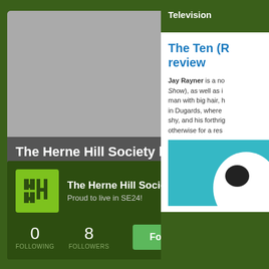[Figure (screenshot): Herne Hill Society blog profile card with gray image placeholder, home icon, blog title and subtitle text on dark gray background]
The Herne Hill Society blog
BRINGING PEOPLE TOGETHER TO LEARN ABOUT AND IMPROVE LONDON SE24 READ MORE AT WWW.HERNEHILLSOCIETY.ORG.UK
[Figure (logo): The Herne Hill Society logo: green square with HHS initials in dark green]
The Herne Hill Society
Proud to live in SE24!
0 FOLLOWING
8 FOLLOWERS
Follow
Television
The Ten (R review
Jay Rayner is a no Show), as well as i man with big hair, h in Dugards, where shy, and his forthrig otherwise for a res
[Figure (illustration): Teal background with white oval/speech bubble shape and dark oval element]